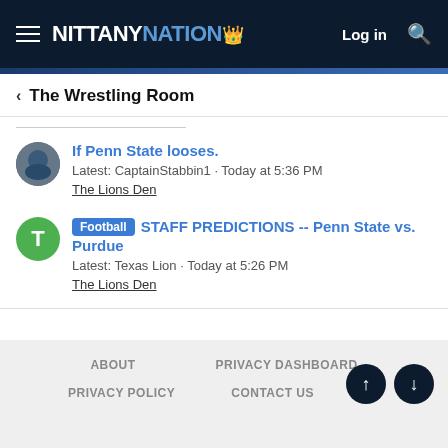NITTANY NATION  Log in
< The Wrestling Room
If Penn State looses.
Latest: CaptainStabbin1 · Today at 5:36 PM
The Lions Den
Football  STAFF PREDICTIONS -- Penn State vs. Purdue
Latest: Texas Lion · Today at 5:26 PM
The Lions Den
ABOUT  PRIVACY DASHBOARD  PRIVACY POLICY  CONTACT US